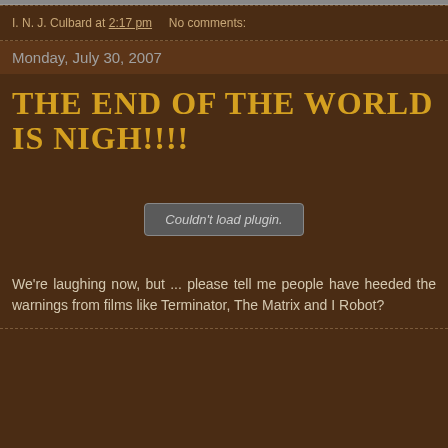I. N. J. Culbard at 2:17 pm   No comments:
Monday, July 30, 2007
THE END OF THE WORLD IS NIGH!!!!
[Figure (other): Embedded plugin placeholder showing 'Couldn't load plugin.']
We're laughing now, but ... please tell me people have heeded the warnings from films like Terminator, The Matrix and I Robot?